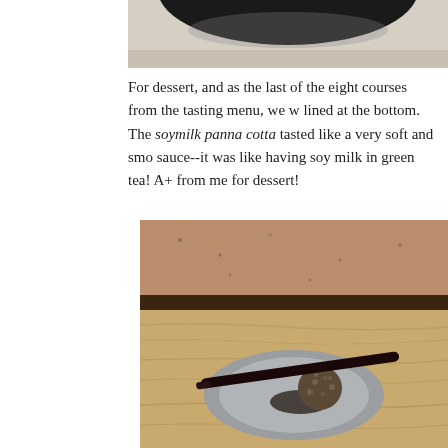[Figure (photo): Top portion of a dark bowl or plate, partially cropped at top of page]
For dessert, and as the last of the eight courses from the tasting menu, we w... lined at the bottom. The soymilk panna cotta tasted like a very soft and smo... sauce--it was like having soy milk in green tea! A+ from me for dessert!
[Figure (photo): A dessert ball coated in crushed nuts on a gray ceramic plate with dark chopsticks, placed on a light wood table with a granite wall in the background]